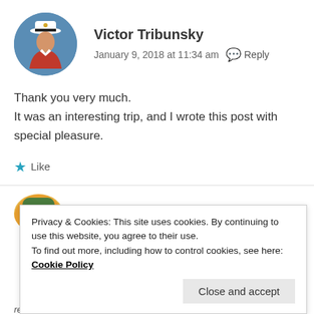[Figure (photo): Circular avatar photo of Victor Tribunsky, a man wearing a white captain's hat and red shirt against a blue sky background.]
Victor Tribunsky
January 9, 2018 at 11:34 am   Reply
Thank you very much.
It was an interesting trip, and I wrote this post with special pleasure.
Like
[Figure (photo): Partial circular avatar visible at the bottom, orange/green tones, partially cut off.]
Privacy & Cookies: This site uses cookies. By continuing to use this website, you agree to their use.
To find out more, including how to control cookies, see here: Cookie Policy
Close and accept
rere time I was there with year. I will be visiting this very